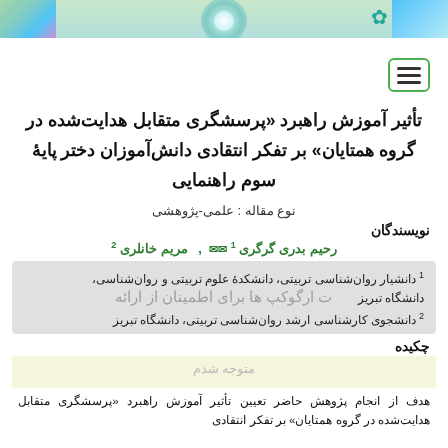تأثیر آموزش راهبرد «پرسشگری متقابل هدایت‌شده در گروه همتایان» بر تفکر انتقادی دانش‌آموزان دختر پایهٔ سوم راهنمایی
نوع مقاله : علمی-پژوهشی
نویسندگان
رحیم بدری گرگری 1 ✉  ،  مریم خانلری 2
1 دانشیار روان‌شناسی تربیتی، دانشکدهٔ علوم تربیتی و روان‌شناسی، دانشگاه تبریز
2 دانشجوی کارشناسی ارشد روان‌شناسی تربیتی، دانشگاه تبریز
چکیده
هدف از انجام پژوهش حاضر تعیین تأثیر آموزش راهبرد «پرسشگری متقابل هدایت‌شده در گروه همتایان» بر تفکر انتقادی